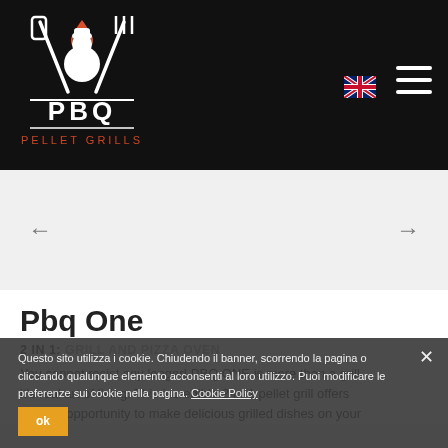[Figure (logo): PBQ Pellet Grills logo: white crossed spatula and fork with a chef figure and orange flame on black background, text PBQ PELLET GRILLS in white below]
[Figure (illustration): UK flag icon for language selection]
[Figure (illustration): Hamburger menu icon (three white horizontal lines)]
[Figure (illustration): Slider navigation area with left arrow and right arrow]
Pbq One
2 in 1: GRILL AND PIZZA OVEN
You cannot resist any longer! PBQ ONE is more than a grill, it's real art of living. This incredible 2-in-1 pellet grill offers you the opportunity to make delicious grilled dishes on your
Questo sito utilizza i cookie. Chiudendo il banner, scorrendo la pagina o cliccando qualunque elemento acconsenti al loro utilizzo. Puoi modificare le preferenze sui cookie nella pagina. Cookie Policy